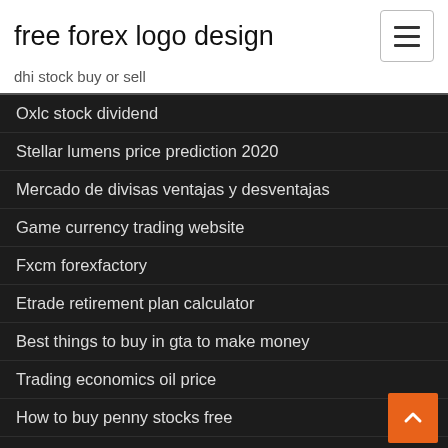free forex logo design
dhi stock buy or sell
Oxlc stock dividend
Stellar lumens price prediction 2020
Mercado de divisas ventajas y desventajas
Game currency trading website
Fxcm forexfactory
Etrade retirement plan calculator
Best things to buy in gta to make money
Trading economics oil price
How to buy penny stocks free
How to earn money by investing in bitcoin